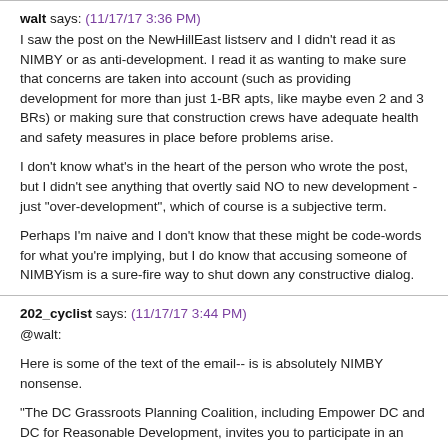walt says: (11/17/17 3:36 PM)
I saw the post on the NewHillEast listserv and I didn't read it as NIMBY or as anti-development. I read it as wanting to make sure that concerns are taken into account (such as providing development for more than just 1-BR apts, like maybe even 2 and 3 BRs) or making sure that construction crews have adequate health and safety measures in place before problems arise.

I don't know what's in the heart of the person who wrote the post, but I didn't see anything that overtly said NO to new development - just "over-development", which of course is a subjective term.

Perhaps I'm naive and I don't know that these might be code-words for what you're implying, but I do know that accusing someone of NIMBYism is a sure-fire way to shut down any constructive dialog.
202_cyclist says: (11/17/17 3:44 PM)
@walt:

Here is some of the text of the email-- is is absolutely NIMBY nonsense.

"The DC Grassroots Planning Coalition, including Empower DC and DC for Reasonable Development, invites you to participate in an informal discussion which we hope will lead to some formal organizing to fight displacement and to protect your communities